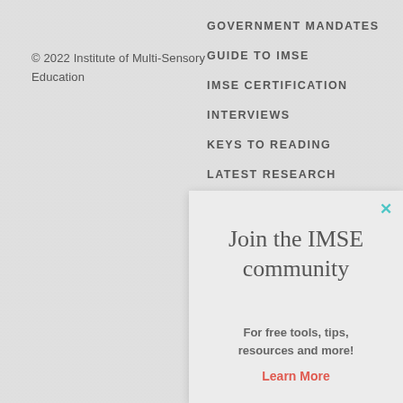© 2022 Institute of Multi-Sensory Education
GOVERNMENT MANDATES
GUIDE TO IMSE
IMSE CERTIFICATION
INTERVIEWS
KEYS TO READING
LATEST RESEARCH
Join the IMSE community
For free tools, tips, resources and more!
Learn More